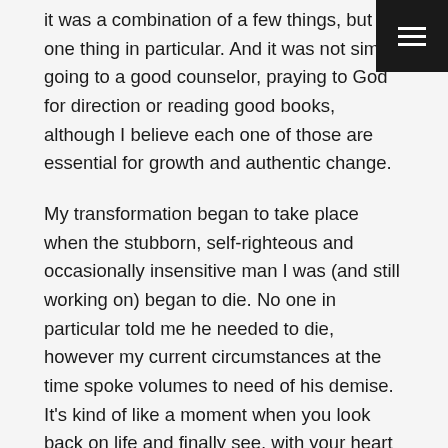it was a combination of a few things, but one thing in particular. And it was not simply going to a good counselor, praying to God for direction or reading good books, although I believe each one of those are essential for growth and authentic change.
My transformation began to take place when the stubborn, self-righteous and occasionally insensitive man I was (and still working on) began to die. No one in particular told me he needed to die, however my current circumstances at the time spoke volumes to need of his demise. It's kind of like a moment when you look back on life and finally see, with your heart and your mind, the causalities of your actions lying all about you.
It’s not a moment where I said, “I need to start doing better.” It’s a moment where I realized that I needed to start over. Like reset my life on how I thought, responded